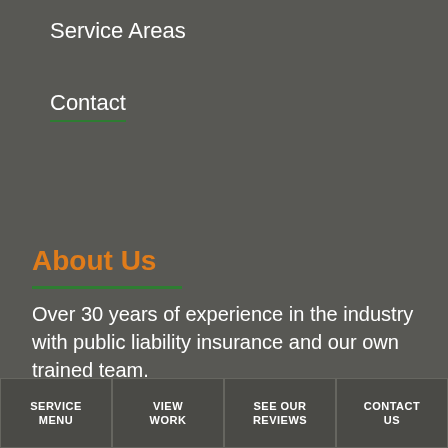Service Areas
Contact
About Us
Over 30 years of experience in the industry with public liability insurance and our own trained team.
[Figure (logo): Proven Local logo with mascot figure and text 'Proven Local - View Our Reviews On Proven Local', with tagline 'Review Us On Proven Local' and five orange star ratings below]
SERVICE MENU | VIEW WORK | SEE OUR REVIEWS | CONTACT US